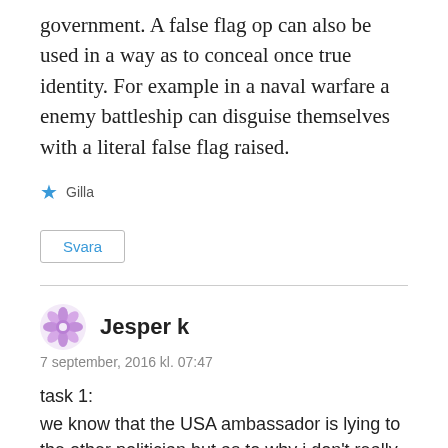government. A false flag op can also be used in a way as to conceal once true identity. For example in a naval warfare a enemy battleship can disguise themselves with a literal false flag raised.
★ Gilla
Svara
Jesper k
7 september, 2016 kl. 07:47
task 1:
we know that the USA ambassador is lying to the other politician but as to why i don't really